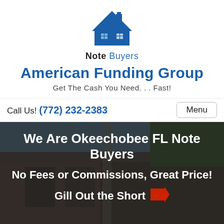[Figure (logo): House icon logo with blue roof and windows above text 'Note Buyers']
American Funding Group
Get The Cash You Need. . . Fast!
Call Us! (772) 232-2383
Menu
[Figure (photo): Background photo of a brick building exterior with trees and blue sky]
We Are Okeechobee FL Note Buyers
No Fees or Commissions, Great Price!
Gill Out the Short